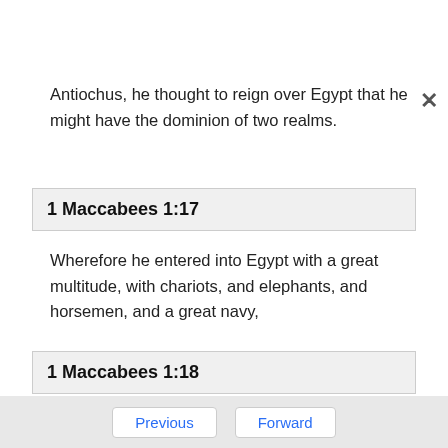Antiochus, he thought to reign over Egypt that he might have the dominion of two realms.
1 Maccabees 1:17
Wherefore he entered into Egypt with a great multitude, with chariots, and elephants, and horsemen, and a great navy,
1 Maccabees 1:18
And made war against Ptolemee king of Egypt:
Previous   Forward